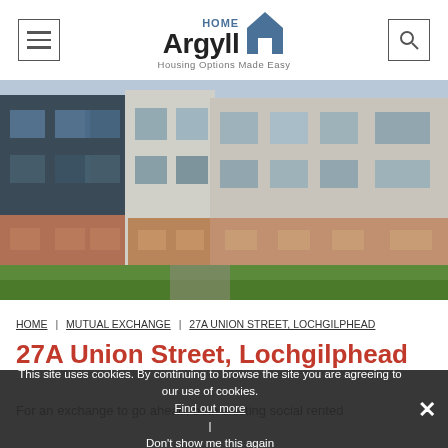[Figure (logo): Home Argyll logo with house icon and tagline 'Housing Options Made Easy']
[Figure (photo): Exterior photograph of modern multi-storey residential apartment buildings with brick and render facades, large windows, and green lawn in foreground]
HOME | MUTUAL EXCHANGE | 27A UNION STREET, LOCHGILPHEAD
27A Union Street, Lochgilphead
For an exchange to go ahead, both existing social rented
This site uses cookies. By continuing to browse the site you are agreeing to our use of cookies. Find out more | Don't show me this again